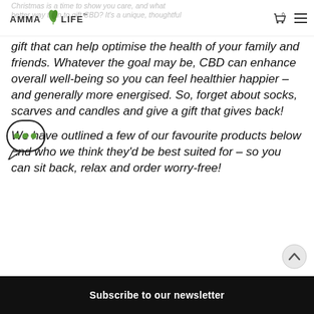AMMA LIFE — Christmas is a time to show you care, and what better way than to gift CBD? It's a unique, thoughtful
gift that can help optimise the health of your family and friends. Whatever the goal may be, CBD can enhance overall well-being so you can feel healthier happier – and generally more energised. So, forget about socks, scarves and candles and give a gift that gives back!
We have outlined a few of our favourite products below and who we think they'd be best suited for – so you can sit back, relax and order worry-free!
Subscribe to our newsletter